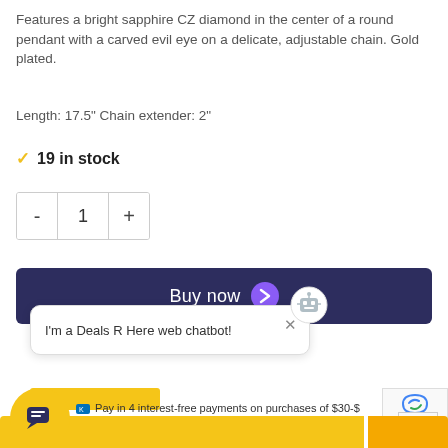Features a bright sapphire CZ diamond in the center of a round pendant with a carved evil eye on a delicate, adjustable chain. Gold plated.
Length: 17.5" Chain extender: 2"
✓ 19 in stock
- 1 +
Buy now
[Figure (screenshot): Chatbot popup with robot icon and text: I'm a Deals R Here web chatbot!]
Pay in 4 interest-free payments on purchases of $30-$
Learn more